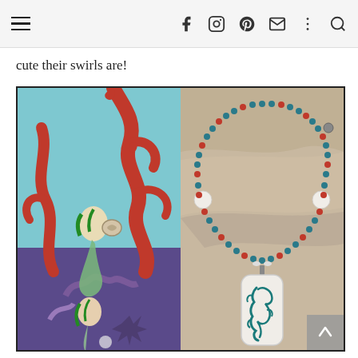Navigation bar with hamburger menu and social icons: Facebook, Instagram, Pinterest, Email, More, Search
cute their swirls are!
[Figure (photo): Split image: left side shows a vintage mermaid illustration with red coral/seaweed and two mermaids, one holding a shell; right side shows a beaded necklace with teal, coral/red, and white beads and a rectangular ceramic pendant with teal leaf design, laid on a stone surface.]